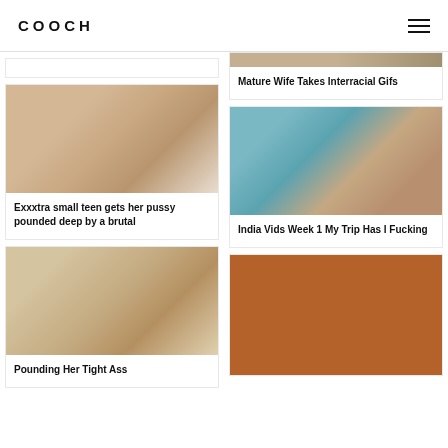COOCH
Mature Wife Takes Interracial Gifs
[Figure (photo): Explicit adult content photo]
Exxxtra small teen gets her pussy pounded deep by a brutal
[Figure (photo): Explicit adult content photo]
India Vids Week 1 My Trip Has I Fucking
[Figure (photo): Explicit adult content photo]
Pounding Her Tight Ass
[Figure (photo): Brown/terracotta colored image block]